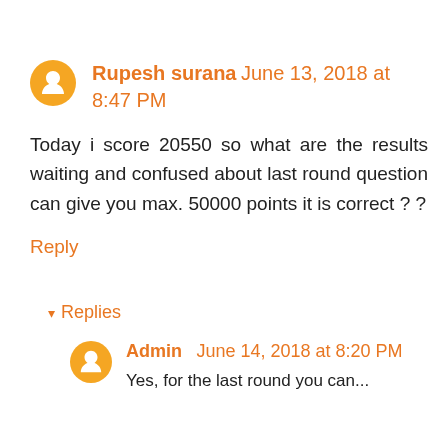Rupesh surana June 13, 2018 at 8:47 PM
Today i score 20550 so what are the results waiting and confused about last round question can give you max. 50000 points it is correct ? ?
Reply
▾ Replies
Admin June 14, 2018 at 8:20 PM
Yes, for the last round you can...